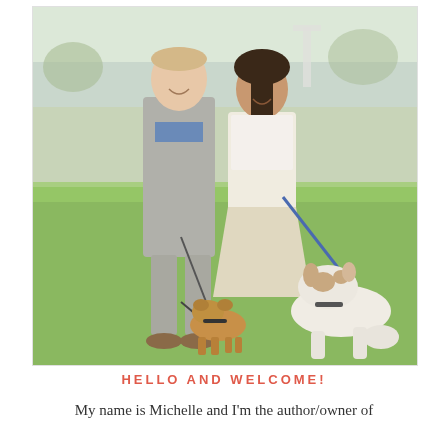[Figure (photo): A couple standing on a green lawn near a waterfront. The man is on the left wearing a grey zip-up and grey pants, holding a leash attached to a small French Bulldog. The woman is on the right wearing a white strapless top and a beige skirt, holding a blue leash attached to a larger white dog sitting on the grass. Both are smiling.]
HELLO AND WELCOME!
My name is Michelle and I'm the author/owner of